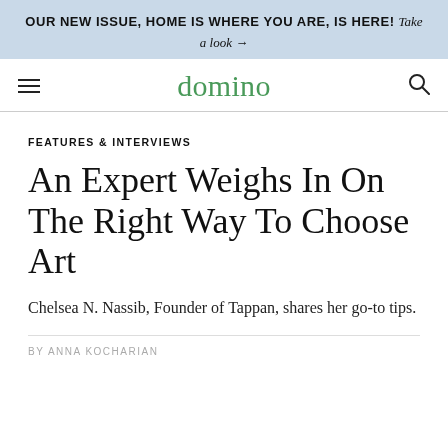OUR NEW ISSUE, HOME IS WHERE YOU ARE, IS HERE! Take a look →
domino
FEATURES & INTERVIEWS
An Expert Weighs In On The Right Way To Choose Art
Chelsea N. Nassib, Founder of Tappan, shares her go-to tips.
BY ANNA KOCHARIAN